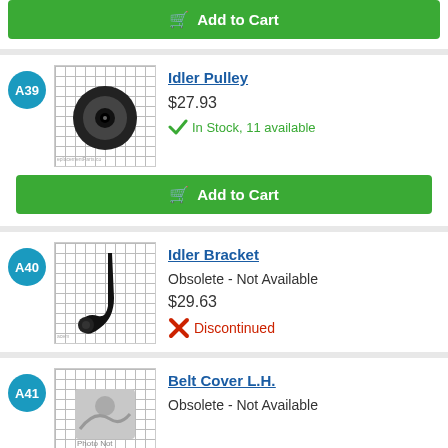[Figure (other): Add to Cart button (green) at top of page]
A39
[Figure (photo): Idler Pulley part image on grid background]
Idler Pulley
$27.93
In Stock, 11 available
[Figure (other): Add to Cart button (green)]
A40
[Figure (photo): Idler Bracket part image on grid background]
Idler Bracket
Obsolete - Not Available
$29.63
Discontinued
A41
[Figure (photo): Belt Cover L.H. - Photo Not Available]
Belt Cover L.H.
Obsolete - Not Available